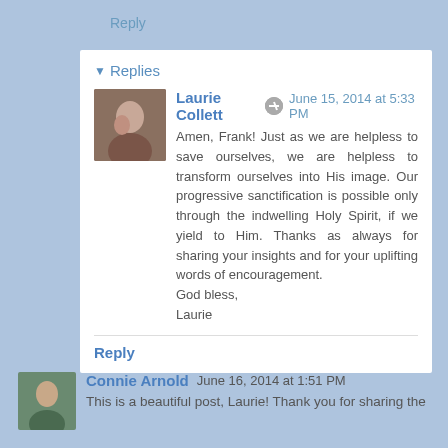Reply
Replies
Laurie Collett   June 15, 2014 at 5:33 PM
Amen, Frank! Just as we are helpless to save ourselves, we are helpless to transform ourselves into His image. Our progressive sanctification is possible only through the indwelling Holy Spirit, if we yield to Him. Thanks as always for sharing your insights and for your uplifting words of encouragement.
God bless,
Laurie
Reply
Connie Arnold   June 16, 2014 at 1:51 PM
This is a beautiful post, Laurie! Thank you for sharing the